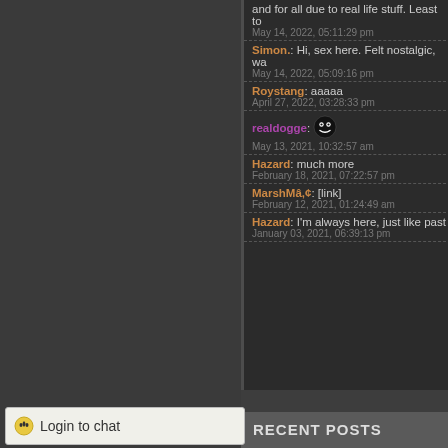and for all due to real life stuff. Least to
May 14, 2022, 05:11:29 pm
Simon.: Hi, sex here. Felt nostalgic, wa
May 14, 2022, 05:09:16 pm
Roystang: aaaaa
April 27, 2022, 03:28:33 pm
[Figure (illustration): Smiley face emoticon - black circle with eyes]
realdogge:
May 13, 2021, 10:32:57 am
Hazard: much more
February 18, 2021, 07:22:57 pm
MarshMâ,¢: [link]
February 12, 2021, 01:24:49 am
Hazard: I'm always here, just like past
January 03, 2021, 06:39:13 pm
RECENT POSTS
Goodbye UF! by Hazard
[April 01, 2023, 06:03:48 pm]
Login to chat